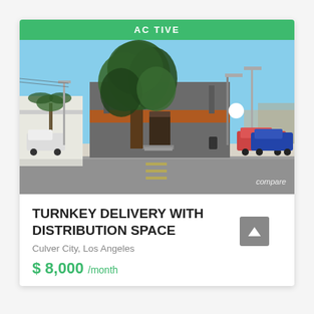ACTIVE
[Figure (photo): Street-level photo of a commercial building with a large tree in front. The building has a gray facade with an orange/brown stripe. Street and sidewalk visible in foreground. Clear blue sky. Cars parked along the street.]
compare
TURNKEY DELIVERY WITH DISTRIBUTION SPACE
Culver City, Los Angeles
$ 8,000 /month